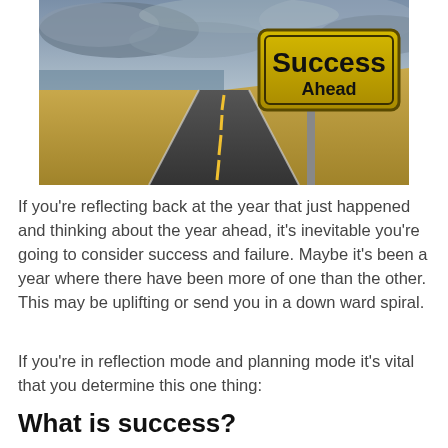[Figure (photo): A road stretching into the horizon through a desert landscape, with a yellow road sign on the right reading 'Success Ahead' in bold black text, under a dramatic cloudy sky.]
If you're reflecting back at the year that just happened and thinking about the year ahead, it's inevitable you're going to consider success and failure. Maybe it's been a year where there have been more of one than the other. This may be uplifting or send you in a down ward spiral.
If you're in reflection mode and planning mode it's vital that you determine this one thing:
What is success?